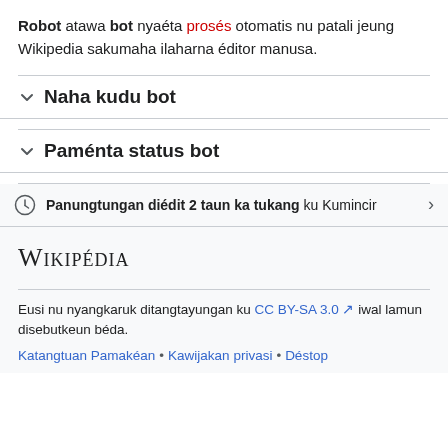Robot atawa bot nyaéta prosés otomatis nu patali jeung Wikipedia sakumaha ilaharna éditor manusa.
Naha kudu bot
Paménta status bot
Panungtungan diédit 2 taun ka tukang ku Kumincir
Wikipédia
Eusi nu nyangkaruk ditangtayungan ku CC BY-SA 3.0 iwal lamun disebutkeun béda.
Katangtuan Pamakéan • Kawijakan privasi • Déstop